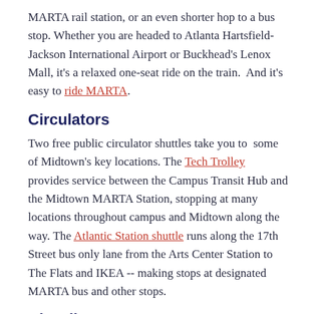MARTA rail station, or an even shorter hop to a bus stop. Whether you are headed to Atlanta Hartsfield-Jackson International Airport or Buckhead's Lenox Mall, it's a relaxed one-seat ride on the train.  And it's easy to ride MARTA.
Circulators
Two free public circulator shuttles take you to  some of Midtown's key locations. The Tech Trolley provides service between the Campus Transit Hub and the Midtown MARTA Station, stopping at many locations throughout campus and Midtown along the way. The Atlantic Station shuttle runs along the 17th Street bus only lane from the Arts Center Station to The Flats and IKEA -- making stops at designated MARTA bus and other stops.
Bicycling
Midtown's street grid and significant bike lane network